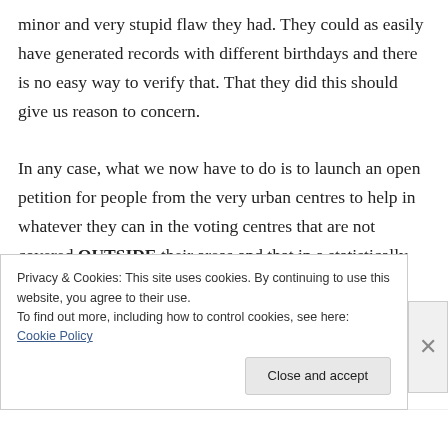minor and very stupid flaw they had. They could as easily have generated records with different birthdays and there is no easy way to verify that. That they did this should give us reason to concern.

In any case, what we now have to do is to launch an open petition for people from the very urban centres to help in whatever they can in the voting centres that are not covered OUTSIDE their areas and that in a statistically clever way.
Privacy & Cookies: This site uses cookies. By continuing to use this website, you agree to their use.
To find out more, including how to control cookies, see here: Cookie Policy

Close and accept